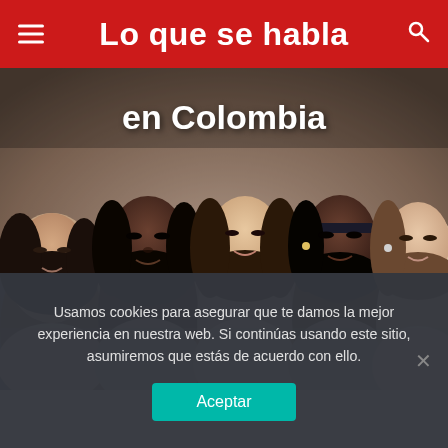Lo que se habla
[Figure (photo): Five diverse women lying down with heads together in a circle, eyes closed, viewed from above. Wearing light-colored sweaters/tops.]
en Colombia
Usamos cookies para asegurar que te damos la mejor experiencia en nuestra web. Si continúas usando este sitio, asumiremos que estás de acuerdo con ello.
Aceptar